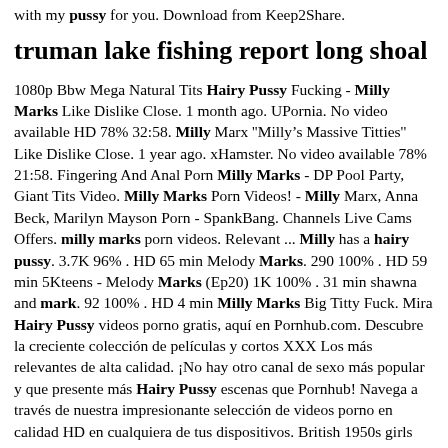with my pussy for you. Download from Keep2Share.
truman lake fishing report long shoal
1080p Bbw Mega Natural Tits Hairy Pussy Fucking - Milly Marks Like Dislike Close. 1 month ago. UPornia. No video available HD 78% 32:58. Milly Marx &#039;&#039;Milly&rsquo;s Massive Titties&#039;&#039; Like Dislike Close. 1 year ago. xHamster. No video available 78% 21:58. Fingering And Anal Porn Milly Marks - DP Pool Party, Giant Tits Video. Milly Marks Porn Videos! - Milly Marx, Anna Beck, Marilyn Mayson Porn - SpankBang. Channels Live Cams Offers. milly marks porn videos. Relevant ... Milly has a hairy pussy. 3.7K 96% . HD 65 min Melody Marks. 290 100% . HD 59 min 5Kteens - Melody Marks (Ep20) 1K 100% . 31 min shawna and mark. 92 100% . HD 4 min Milly Marks Big Titty Fuck. Mira Hairy Pussy videos porno gratis, aquí en Pornhub.com. Descubre la creciente colección de películas y cortos XXX Los más relevantes de alta calidad. ¡No hay otro canal de sexo más popular y que presente más Hairy Pussy escenas que Pornhub! Navega a través de nuestra impresionante selección de videos porno en calidad HD en cualquiera de tus dispositivos. British 1950s girls with girls! - London Collection 07 Nasty Hairy Pussy Johaquina strips naked in her kitchen Milly Marks Size of TX2 Hairy woman Maxine Holloway stuffs her pretty puss Sophia Smith